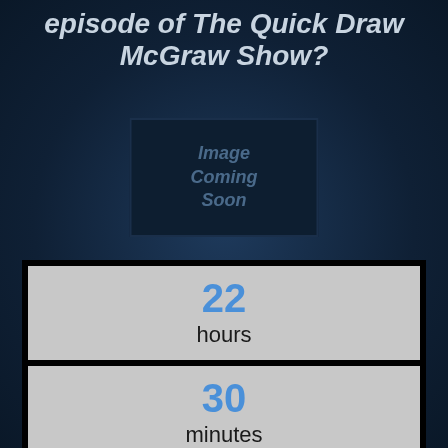episode of The Quick Draw McGraw Show?
[Figure (other): Image placeholder box with text 'Image Coming Soon']
22 hours
30 minutes